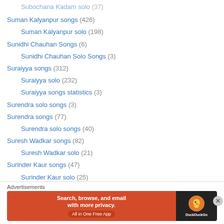Subochana Kadam solo (37)
Suman Kalyanpur songs (426)
Suman Kalyanpur solo (198)
Sunidhi Chauhan Songs (6)
Sunidhi Chauhan Solo Songs (3)
Suraiyya songs (312)
Suraiyya solo (232)
Suraiyya songs statistics (3)
Surendra solo songs (3)
Surendra songs (77)
Surendra solo songs (40)
Suresh Wadkar songs (82)
Suresh Wadkar solo (21)
Surinder Kaur songs (47)
Surinder Kaur solo (25)
Susheela Rani Songs (4)
Susheela Rani Solo Songs (3)
[Figure (screenshot): DuckDuckGo advertisement banner: Search, browse, and email with more privacy. All in One Free App]